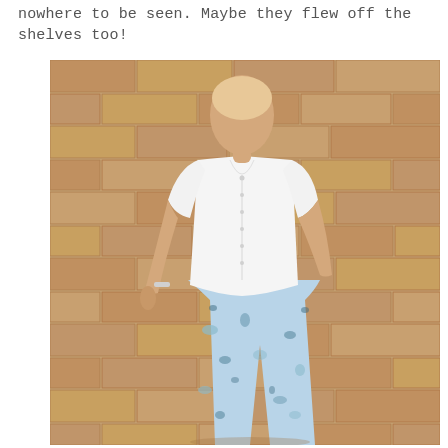nowhere to be seen. Maybe they flew off the shelves too!
[Figure (photo): A person wearing a white short-sleeve button-up blouse and light blue floral print pants, posing in front of a sandy brick wall in sunlight.]